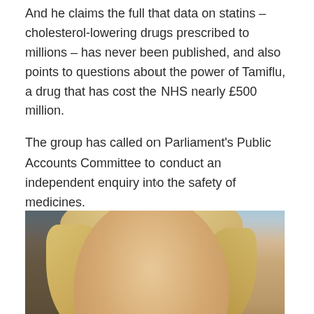And he claims the full that data on statins – cholesterol-lowering drugs prescribed to millions – has never been published, and also points to questions about the power of Tamiflu, a drug that has cost the NHS nearly £500 million.
The group has called on Parliament's Public Accounts Committee to conduct an independent enquiry into the safety of medicines.
They claim public funding is often allocated to medical research because it is likely to be profitable, not because it will be beneficial for patients.
[Figure (photo): Close-up photo of a blonde person's face and hair, partially cropped, with a light blue background behind them. A dark shadow is visible on the left edge.]